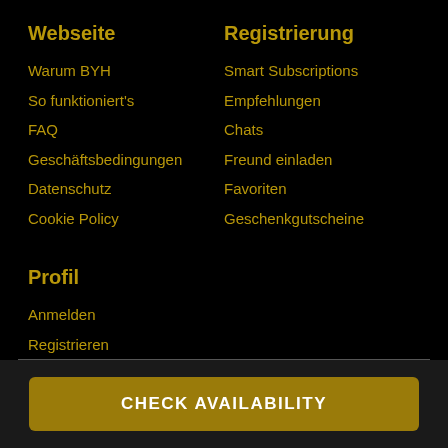Webseite
Warum BYH
So funktioniert's
FAQ
Geschäftsbedingungen
Datenschutz
Cookie Policy
Registrierung
Smart Subscriptions
Empfehlungen
Chats
Freund einladen
Favoriten
Geschenkgutscheine
Profil
Anmelden
Registrieren
Werden Sie unser Partner
CHECK AVAILABILITY